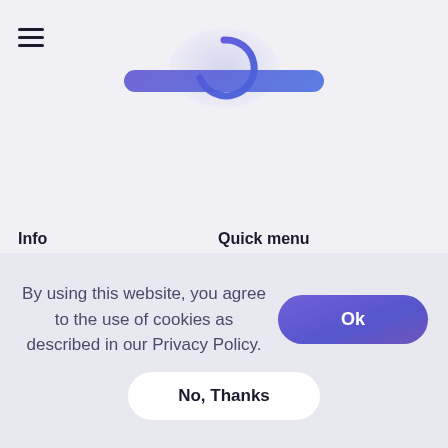[Figure (logo): Circular G-shaped logo in blue/purple gradient, hamburger menu icon on left, hero button below logo]
Info
Quick menu
By using this website, you agree to the use of cookies as described in our Privacy Policy.
Ok
No, Thanks